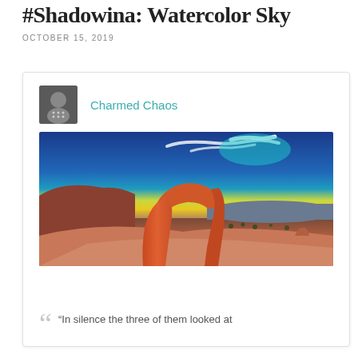#Shadowina: Watercolor Sky
OCTOBER 15, 2019
Charmed Chaos
[Figure (photo): Dramatic sunset photo of Delicate Arch in Arches National Park, Utah. The sandstone arch glows orange-red in the foreground against a vivid sky with deep blue and yellow-green gradient at the horizon, with wispy white clouds streaking across.]
"In silence the three of them looked at